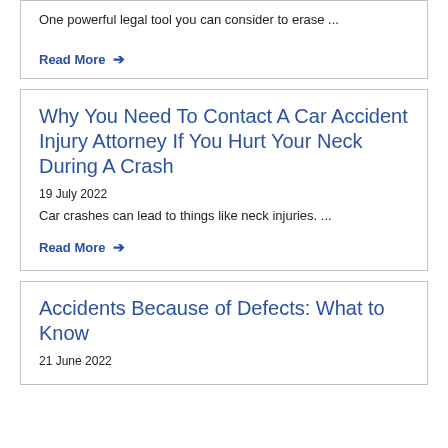One powerful legal tool you can consider to erase ...
Read More →
Why You Need To Contact A Car Accident Injury Attorney If You Hurt Your Neck During A Crash
19 July 2022
Car crashes can lead to things like neck injuries. ...
Read More →
Accidents Because of Defects: What to Know
21 June 2022